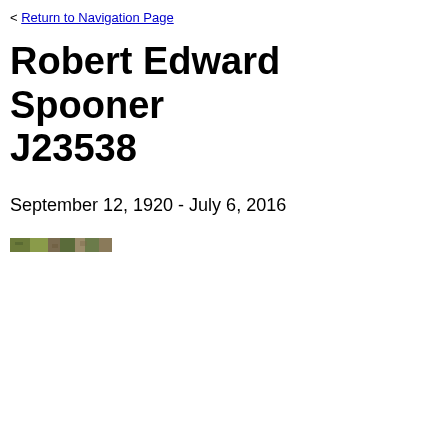< Return to Navigation Page
Robert Edward Spooner J23538
September 12, 1920 - July 6, 2016
[Figure (photo): Small thumbnail image, appears to be a landscape or outdoor photo strip]